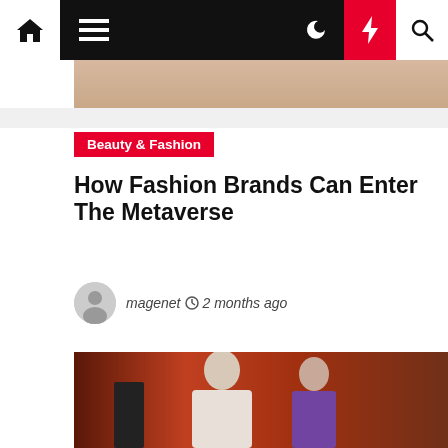Navigation bar with home, menu, moon, lightning, search icons
[Figure (photo): Partial cropped photo at top, warm skin tones visible]
Beauty & Fashion
How Fashion Brands Can Enter The Metaverse
magenet  2 months ago
[Figure (photo): Two people standing together, man in white sweater and woman in purple dress, orange background]